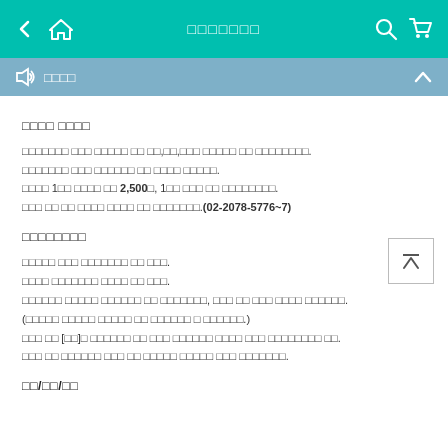< 🏠  □□□□□□□  🔍 🛒
🔊 □□□□  ∧
□□□□ □□□□
□□□□□□□ □□□ □□□□□ □□ □□,□□,□□□ □□□□□ □□ □□□□□□□□.
□□□□□□□ □□□ □□□□□□ □□ □□□□ □□□□□.
□□□□ 1□□ □□□□ □□ 2,500□, 1□□ □□□ □□ □□□□□□□□.
□□□ □□ □□ □□□□ □□□□ □□ □□□□□□□.(02-2078-5776~7)
□□□□□□□□
□□□□□ □□□ □□□□□□□ □□ □□□.
□□□□ □□□□□□□ □□□□ □□ □□□.
□□□□□□ □□□□□ □□□□□□ □□ □□□□□□□, □□□ □□ □□□ □□□□ □□□□□□.
(□□□□□ □□□□□ □□□□□ □□ □□□□□□ □ □□□□□□.)
□□□ □□ [□□]□ □□□□□□ □□ □□□ □□□□□□ □□□□ □□□ □□□□□□□□ □□.
□□□ □□ □□□□□□ □□□ □□ □□□□□ □□□□□ □□□ □□□□□□□.
□□/□□/□□